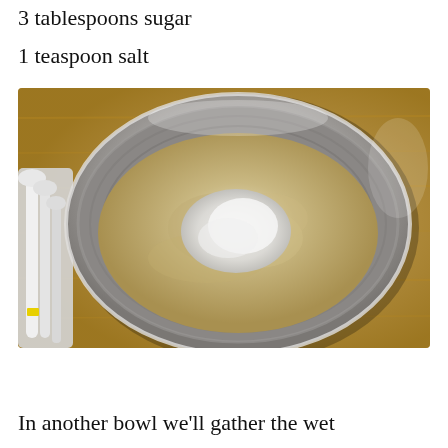3 tablespoons sugar
1 teaspoon salt
[Figure (photo): Overhead view of a stainless steel mixing bowl on a wooden cutting board, containing whole wheat flour with baking powder and salt added on top, unmixed. White measuring spoons are visible to the left of the bowl.]
In another bowl we'll gather the wet